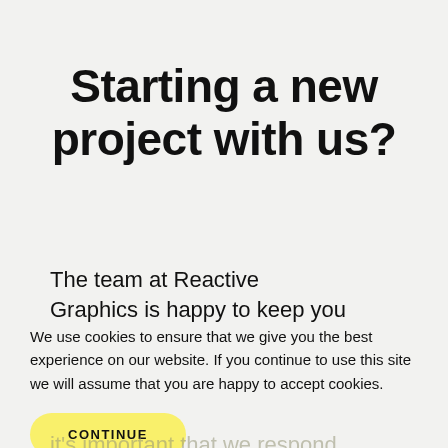Starting a new project with us?
The team at Reactive Graphics is happy to keep you updated and can discuss the project in more detail at any time. Our reputation depends on happy clients, so it's important that we respond to any questions you might
We use cookies to ensure that we give you the best experience on our website. If you continue to use this site we will assume that you are happy to accept cookies.
CONTINUE